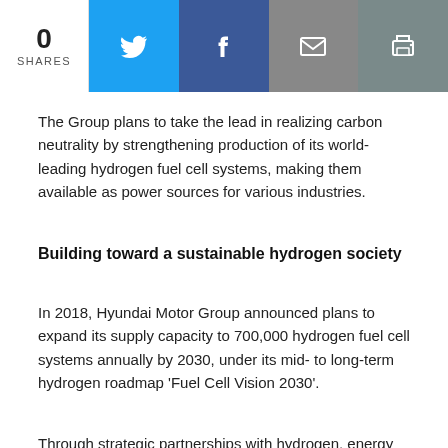0 SHARES — social share bar with Twitter, Facebook, Email, Print buttons
The Group plans to take the lead in realizing carbon neutrality by strengthening production of its world-leading hydrogen fuel cell systems, making them available as power sources for various industries.
Building toward a sustainable hydrogen society
In 2018, Hyundai Motor Group announced plans to expand its supply capacity to 700,000 hydrogen fuel cell systems annually by 2030, under its mid- to long-term hydrogen roadmap 'Fuel Cell Vision 2030'.
Through strategic partnerships with hydrogen, energy and logistics companies around the world, the Group has expanded its fuel cell system business, accelerating development of a